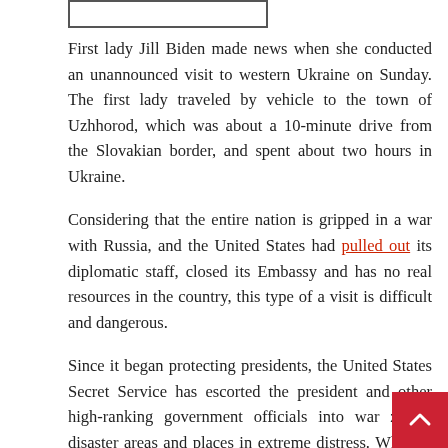[Figure (other): A rectangular image placeholder box at the top of the page]
First lady Jill Biden made news when she conducted an unannounced visit to western Ukraine on Sunday. The first lady traveled by vehicle to the town of Uzhhorod, which was about a 10-minute drive from the Slovakian border, and spent about two hours in Ukraine.
Considering that the entire nation is gripped in a war with Russia, and the United States had pulled out its diplomatic staff, closed its Embassy and has no real resources in the country, this type of a visit is difficult and dangerous.
Since it began protecting presidents, the United States Secret Service has escorted the president and other high-ranking government officials into war zones, disaster areas and places in extreme distress. Whether during World War II with President Franklin Delano Roosevelt visiting troops on the front lines of battle, bringing